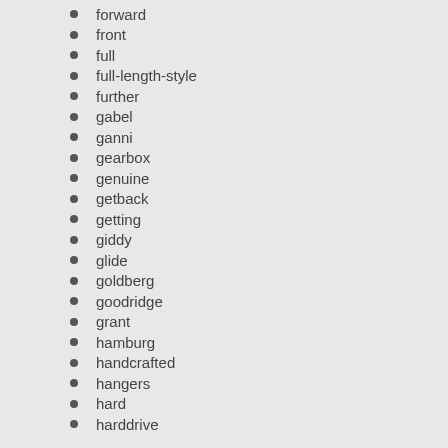forward
front
full
full-length-style
further
gabel
ganni
gearbox
genuine
getback
getting
giddy
glide
goldberg
goodridge
grant
hamburg
handcrafted
hangers
hard
harddrive